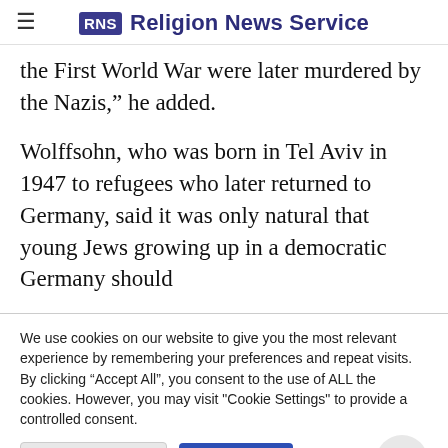RNS Religion News Service
the First World War were later murdered by the Nazis," he added.
Wolffsohn, who was born in Tel Aviv in 1947 to refugees who later returned to Germany, said it was only natural that young Jews growing up in a democratic Germany should
We use cookies on our website to give you the most relevant experience by remembering your preferences and repeat visits. By clicking "Accept All", you consent to the use of ALL the cookies. However, you may visit "Cookie Settings" to provide a controlled consent.